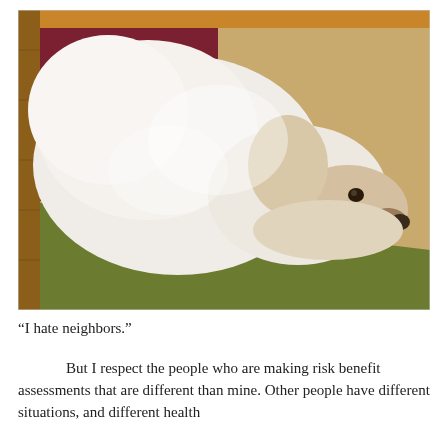[Figure (photo): A small white fluffy dog (appears to be a Bichon Frise or Poodle mix) lying with its chin resting on the edge of a colorful patchwork carpet/rug. The carpet has sections of olive green, tan/beige, dark red/maroon, and dark brown. The background shows a wooden floor.]
“I hate neighbors.”
But I respect the people who are making risk benefit assessments that are different than mine. Other people have different situations, and different health